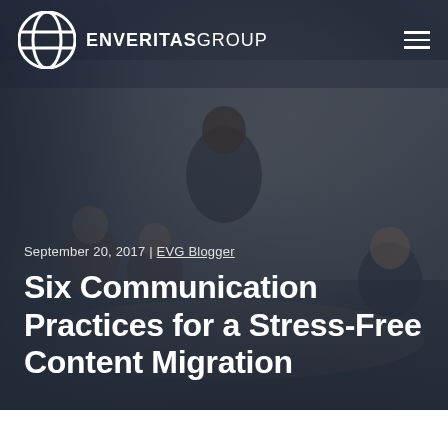[Figure (photo): Hero image of a group of people in a business meeting; a woman with natural hair stands presenting/gesturing while others sit around a table. Background is a blurred office/conference room. Image has a dark overlay.]
ENVERITAS GROUP
September 20, 2017 | EVG Blogger
Six Communication Practices for a Stress-Free Content Migration